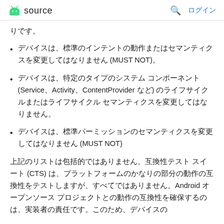source  ログイン
りです。
デバイスは、標準のインテントの動作またはセマンティクスを変更してはなりません (MUST NOT)。
デバイスは、特定のタイプのシステム コンポーネント (Service、Activity、ContentProvider など) のライフサイクルまたはライフサイクル セマンティクスを変更してはなりません。
デバイスは、標準パーミッションのセマンティクスを変更してはなりません (MUST NOT)
上記のリストは包括的ではありません。互換性テスト スイート (CTS) は、プラットフォームのかなりの部分の動作の互換性をテストしますが、すべてではありません。Android オープンソース プロジェクトとの動作の互換性を確保するのは、実装者の責任です。このため、デバイスの